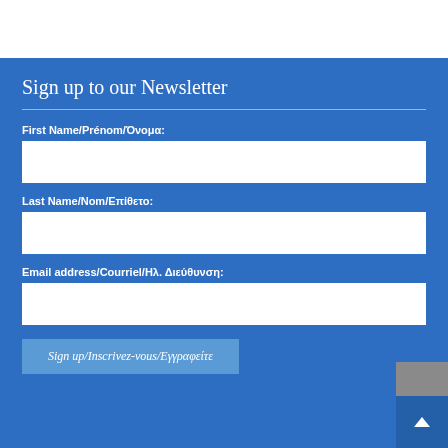Sign up to our Newsletter
First Name/Prénom/Όνομα:
Last Name/Nom/Επίθετο:
Email address/Courriel/Ηλ. Διεύθυνση:
Sign up/Inscrivez-vous/Εγγραφείτε